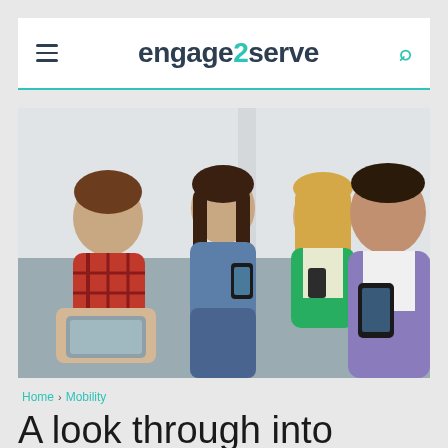engage2serve
[Figure (photo): Four young people sitting together, each looking at mobile devices — one using a tablet, others using smartphones.]
Home > Mobility
A look through into